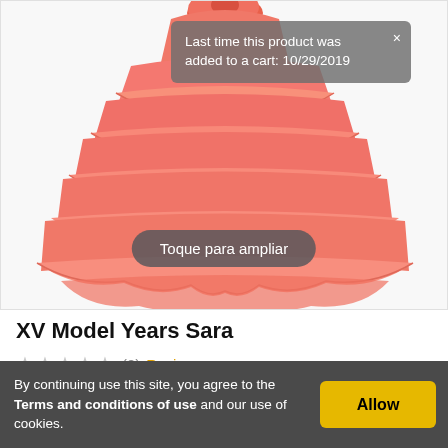[Figure (photo): A pink/coral ruffled quinceañera dress (XV años gown) shown from mid-body down, displayed on a white background. A gray tooltip overlay reads 'Last time this product was added to a cart: 10/29/2019' with an X close button. A dark rounded button at the bottom of the image reads 'Toque para ampliar'.]
XV Model Years Sara
★★★★★ (0)  Reviews
By continuing use this site, you agree to the Terms and conditions of use and our use of cookies.